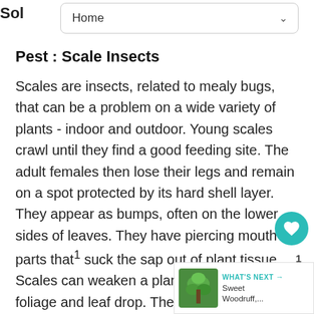Sol   Home
Pest : Scale Insects
Scales are insects, related to mealy bugs, that can be a problem on a wide variety of plants - indoor and outdoor. Young scales crawl until they find a good feeding site. The adult females then lose their legs and remain on a spot protected by its hard shell layer. They appear as bumps, often on the lower sides of leaves. They have piercing mouth parts that suck the sap out of plant tissue. Scales can weaken a plant leading to yellow foliage and leaf drop. They also produce a sweet substance called honeydew (coveted by ants)